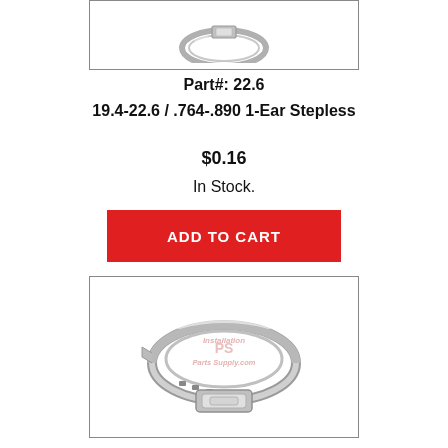[Figure (photo): Top portion of a stepless ear clamp product photo, partially visible, with a border]
Part#: 22.6
19.4-22.6 / .764-.890 1-Ear Stepless
$0.16
In Stock.
ADD TO CART
[Figure (photo): A stepless 1-ear hose clamp (ring clamp) made of stainless steel, shown from the front, with watermark 'Installation Parts Supply.com']